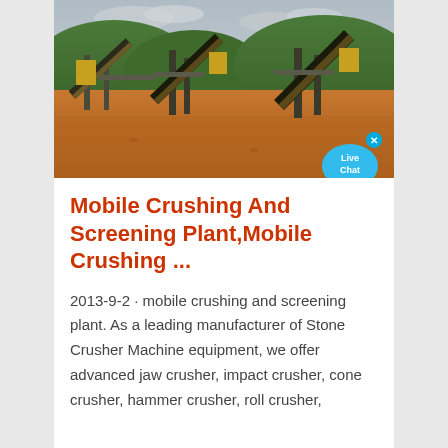[Figure (photo): Outdoor photo of a mobile crushing and screening plant with large conveyor belts angled upward, surrounded by reddish-brown dirt ground and green hills in the background under a cloudy sky.]
Mobile Crushing And Screening Plant,Mobile Crushing ...
2013-9-2 · mobile crushing and screening plant. As a leading manufacturer of Stone Crusher Machine equipment, we offer advanced jaw crusher, impact crusher, cone crusher, hammer crusher, roll crusher,